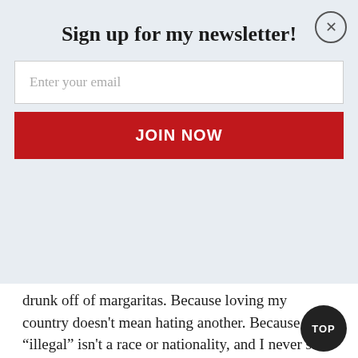[Figure (other): Diagonal red and blue stripe banner at top of page]
Sign up for my newsletter!
Enter your email
JOIN NOW
drunk off of margaritas. Because loving my country doesn’t mean hating another. Because “illegal” isn’t a race or nationality, and I never said it was. Because I’m an American and I can do what I want no matter how people choose to interpret it.
But mostly for the gram.
Like this:
Loading...